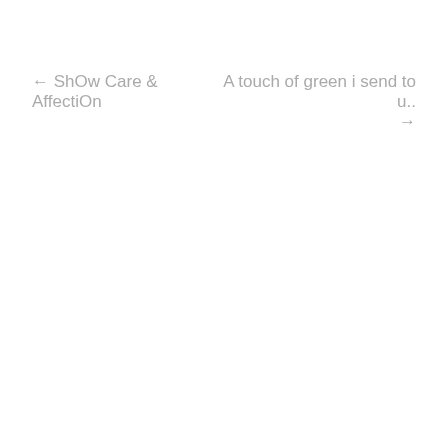← ShOw Care & AffectiOn
A touch of green i send to u.. →